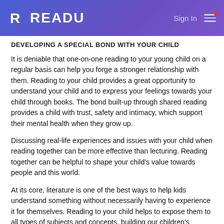READU — Sign In
Developing a Special Bond with Your Child
It is deniable that one-on-one reading to your young child on a regular basis can help you forge a stronger relationship with them. Reading to your child provides a great opportunity to understand your child and to express your feelings towards your child through books. The bond built-up through shared reading provides a child with trust, safety and intimacy, which support their mental health when they grow up.
Discussing real-life experiences and issues with your child when reading together can be more effective than lecturing. Reading together can be helpful to shape your child's value towards people and this world.
At its core, literature is one of the best ways to help kids understand something without necessarily having to experience it for themselves. Reading to your child helps to expose them to all types of subjects and concepts, building our children's understanding of humanity and the world around them.